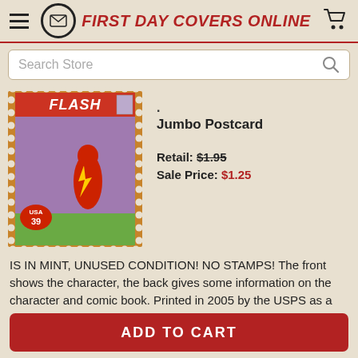FIRST DAY COVERS ONLINE
Search Store
[Figure (photo): A USA 39-cent postage stamp featuring The Flash comic book character in red costume running at speed, with purple/grey background. Stamp has orange border with perforations.]
Jumbo Postcard
Retail: $1.95
Sale Price: $1.25
IS IN MINT, UNUSED CONDITION! NO STAMPS! The front shows the character, the back gives some information on the character and comic book. Printed in 2005 by the USPS as a Limited Edition and no longer available. Printed on sturdy, 14-point, UV-coated...
ADD TO CART